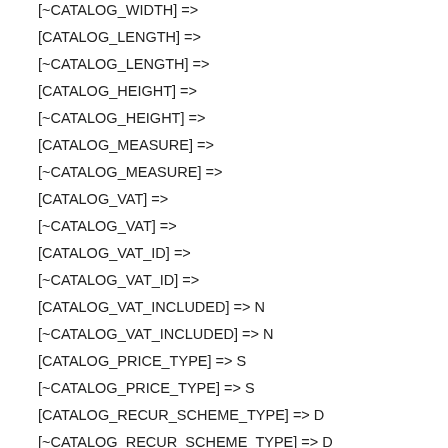[~CATALOG_WIDTH] =>
[CATALOG_LENGTH] =>
[~CATALOG_LENGTH] =>
[CATALOG_HEIGHT] =>
[~CATALOG_HEIGHT] =>
[CATALOG_MEASURE] =>
[~CATALOG_MEASURE] =>
[CATALOG_VAT] =>
[~CATALOG_VAT] =>
[CATALOG_VAT_ID] =>
[~CATALOG_VAT_ID] =>
[CATALOG_VAT_INCLUDED] => N
[~CATALOG_VAT_INCLUDED] => N
[CATALOG_PRICE_TYPE] => S
[~CATALOG_PRICE_TYPE] => S
[CATALOG_RECUR_SCHEME_TYPE] => D
[~CATALOG_RECUR_SCHEME_TYPE] => D
[CATALOG_RECUR_SCHEME_LENGTH] =>
[~CATALOG_RECUR_SCHEME_LENGTH] =>